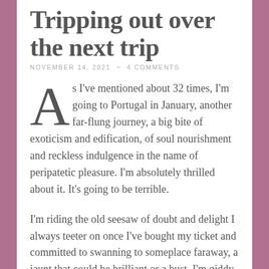Tripping out over the next trip
NOVEMBER 14, 2021 ~ 4 COMMENTS
As I've mentioned about 32 times, I'm going to Portugal in January, another far-flung journey, a big bite of exoticism and edification, of soul nourishment and reckless indulgence in the name of peripatetic pleasure. I'm absolutely thrilled about it. It's going to be terrible.
I'm riding the old seesaw of doubt and delight I always teeter on once I've bought my ticket and committed to swanning to someplace faraway, a jaunt that could be brilliant or a bust. I'm giddy. I'm aghast.